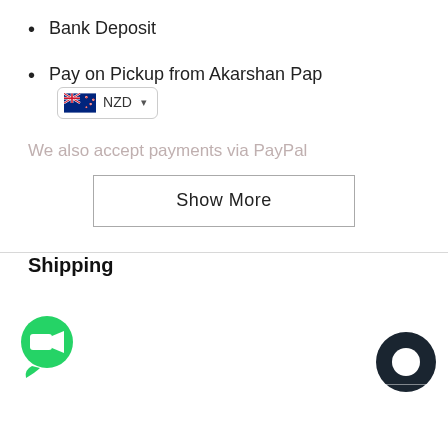Bank Deposit
Pay on Pickup from Akarshan Pap...
We also accept payments via PayPal
Show More
Shipping
Contact Info
Akarshan Auckland: 187 Great South Road